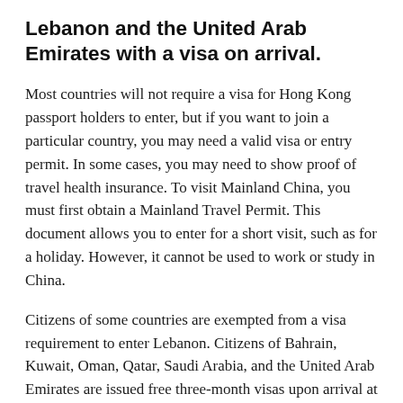Lebanon and the United Arab Emirates with a visa on arrival.
Most countries will not require a visa for Hong Kong passport holders to enter, but if you want to join a particular country, you may need a valid visa or entry permit. In some cases, you may need to show proof of travel health insurance. To visit Mainland China, you must first obtain a Mainland Travel Permit. This document allows you to enter for a short visit, such as for a holiday. However, it cannot be used to work or study in China.
Citizens of some countries are exempted from a visa requirement to enter Lebanon. Citizens of Bahrain, Kuwait, Oman, Qatar, Saudi Arabia, and the United Arab Emirates are issued free three-month visas upon arrival at Beirut's international airport. Other nationalities must fly through another country to complete their travel. Alternatively, you can